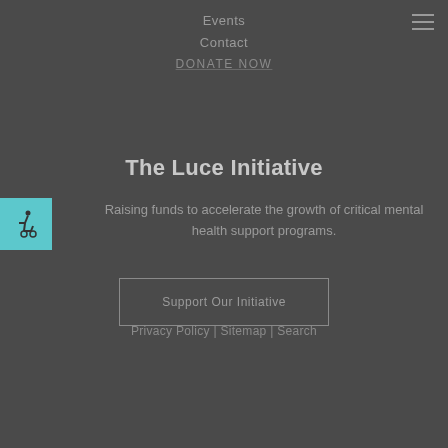Events
Contact
DONATE NOW
The Luce Initiative
Raising funds to accelerate the growth of critical mental health support programs.
Support Our Initiative
Privacy Policy | Sitemap | Search